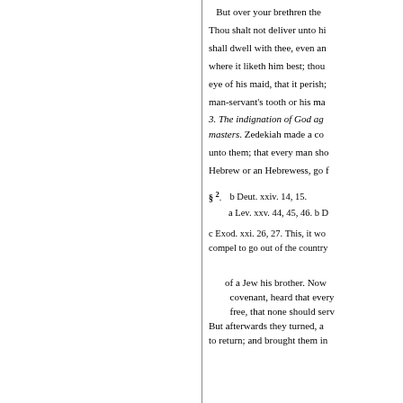But over your brethren the Thou shalt not deliver unto hi shall dwell with thee, even an where it liketh him best; thou eye of his maid, that it perish man-servant's tooth or his ma
3. The indignation of God ag
masters. Zedekiah made a co unto them; that every man sho Hebrew or an Hebrewess, go
§ 2. b Deut. xxiv. 14, 15.
     a Lev. xxv. 44, 45, 46. b D
c Exod. xxi. 26, 27. This, it wo compel to go out of the country
of a Jew his brother. Now covenant, heard that every free, that none should serv But afterwards they turned, a to return; and brought them in